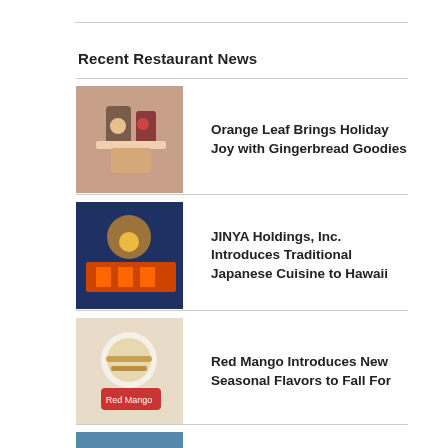Recent Restaurant News
Orange Leaf Brings Holiday Joy with Gingerbread Goodies
JINYA Holdings, Inc. Introduces Traditional Japanese Cuisine to Hawaii
Red Mango Introduces New Seasonal Flavors to Fall For
Walk-On's Celebrates Grand Opening of First Pensacola Restaurant
Juice It Up! Maintains Impressive Brand Momentum and Franchise Growth in the First Half of 2022